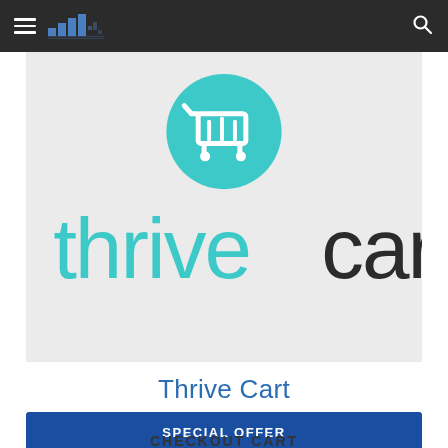Navigation bar with hamburger menu, site logo, and search icon
[Figure (logo): ThriveCart logo: teal shopping cart icon in a teal circle above the text 'thrivecart' in teal and dark gray on a light gray background]
Thrive Cart
SPECIAL OFFER
CHECKOUT CART